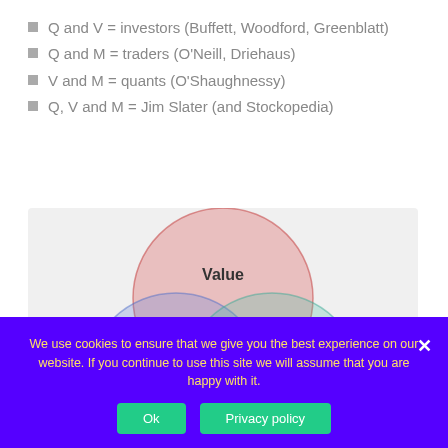Q and V = investors (Buffett, Woodford, Greenblatt)
Q and M = traders (O'Neill, Driehaus)
V and M = quants (O'Shaughnessy)
Q, V and M = Jim Slater (and Stockopedia)
[Figure (other): Venn diagram with three overlapping circles labeled Value (top, pink/red), Quality (bottom-left, blue), and Momentum (bottom-right, teal/green). Overlapping regions are labeled: Investors: Buffett, Woodford, Greenblatt (Q+V), Traders: O'Neill, Driehaus (V+M), and Jim Slater, Stockopedia (center, Q+V+M).]
We use cookies to ensure that we give you the best experience on our website. If you continue to use this site we will assume that you are happy with it.